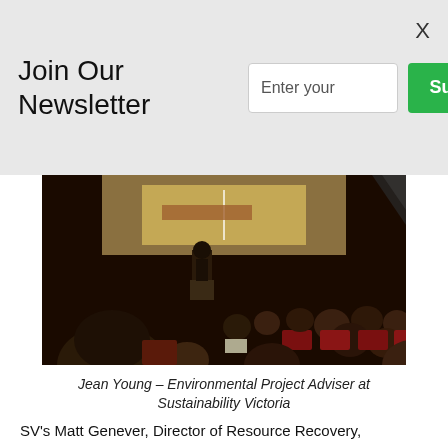Join Our Newsletter
Enter your
Subscribe
[Figure (photo): Audience watching a speaker presenting at a conference or screening event. Speaker stands at a podium in front of a large projection screen showing a road/transportation image. Audience members are seated in red chairs facing the stage.]
Jean Young – Environmental Project Adviser at Sustainability Victoria
SV's Matt Genever, Director of Resource Recovery,